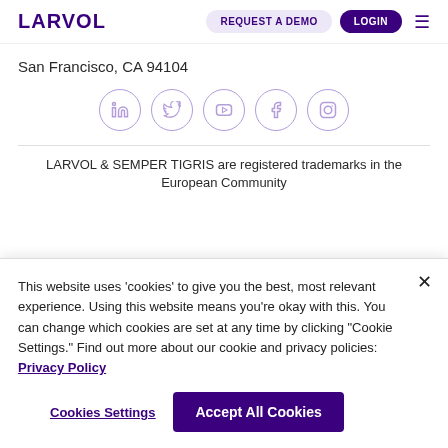LARVOL | REQUEST A DEMO | LOGIN
San Francisco, CA 94104
[Figure (illustration): Row of five social media icon circles: LinkedIn, Twitter, YouTube, Facebook, Instagram — purple outlined circles with purple icons]
LARVOL & SEMPER TIGRIS are registered trademarks in the European Community
This website uses 'cookies' to give you the best, most relevant experience. Using this website means you're okay with this. You can change which cookies are set at any time by clicking "Cookie Settings." Find out more about our cookie and privacy policies: Privacy Policy
Cookies Settings
Accept All Cookies